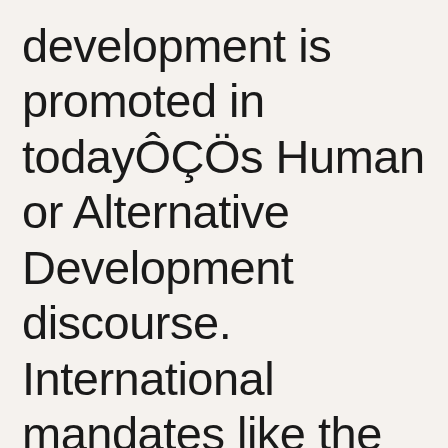development is promoted in todayÔÇÖs Human or Alternative Development discourse. International mandates like the UN Decade for Women (1975-1985) and the Fourth World Conference on Women